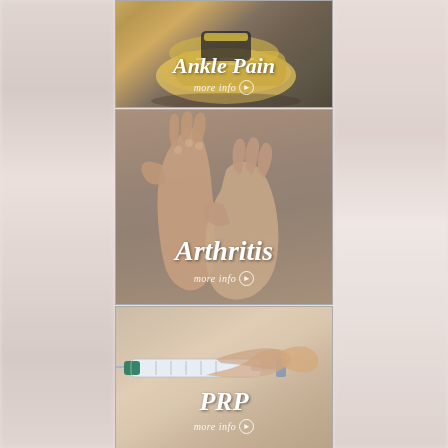[Figure (photo): Medical services menu page showing three panels: Ankle Pain (top, partially cropped), Arthritis (middle, showing arthritic hands being held), and PRP - Platelet Rich Plasma therapy (bottom, showing a syringe/needle). Each panel has a 'more info' link with an arrow circle icon.]
Ankle Pain
more info >
Arthritis
more info >
PRP
more info >